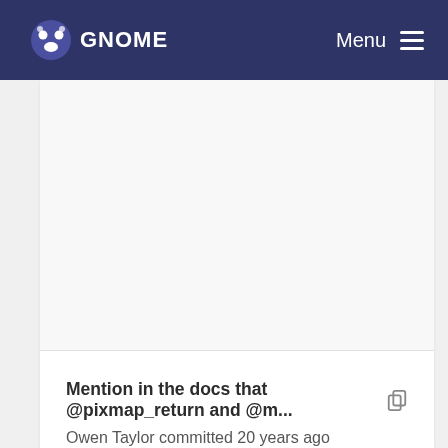GNOME  Menu
Mention in the docs that @pixmap_return and @m... Owen Taylor committed 20 years ago